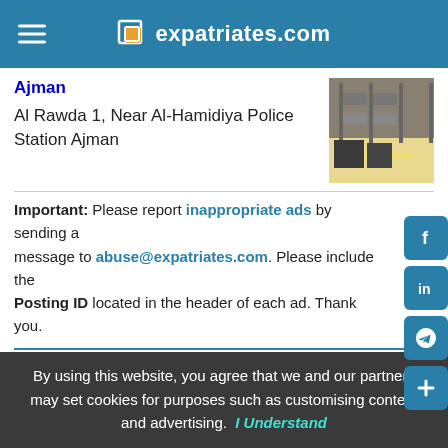expatriates.com
Ajman
Al Rawda 1, Near Al-Hamidiya Police Station Ajman
[Figure (photo): Photo of warehouse/storage area with shelving and yellow floor markings]
Important: Please report inappropriate ads by sending a message to abuse@expatriates.com. Please include the Posting ID located in the header of each ad. Thank you.
© 2022 expatriates.com
Modify an Ad  Unsubscribe  Advertising  Terms of Use  Privacy
By using this website, you agree that we and our partners may set cookies for purposes such as customising content and advertising.  I Understand